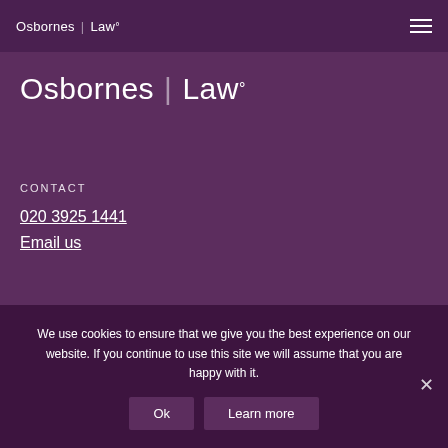Osbornes | Law°
[Figure (logo): Osbornes Law logo in white text on purple background, large version]
CONTACT
020 3925 1441
Email us
We use cookies to ensure that we give you the best experience on our website. If you continue to use this site we will assume that you are happy with it.